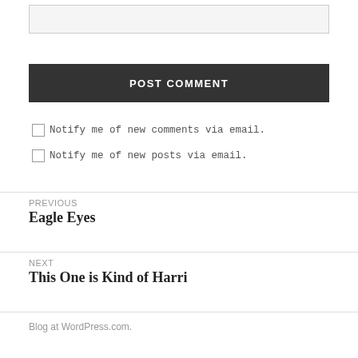[Figure (other): Text input box (comment field)]
POST COMMENT
Notify me of new comments via email.
Notify me of new posts via email.
PREVIOUS
Eagle Eyes
NEXT
This One is Kind of Harri
Blog at WordPress.com.